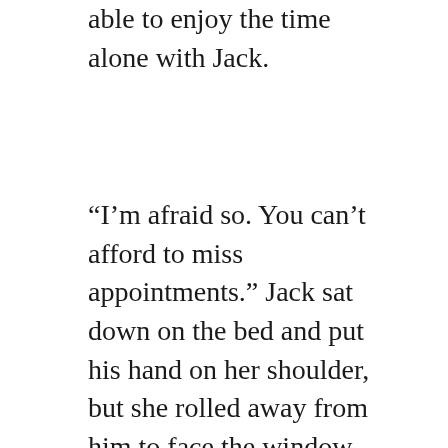able to enjoy the time alone with Jack.
“I’m afraid so. You can’t afford to miss appointments.” Jack sat down on the bed and put his hand on her shoulder, but she rolled away from him to face the window. She was trying not to give way to her tears. Jack watched her, concerned. He realised that she was retreating away as she found herself